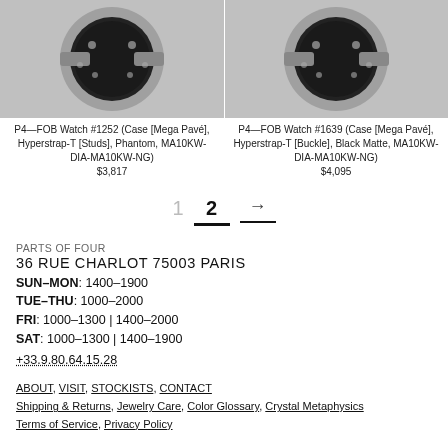[Figure (photo): Two silver watch fob rings with dark stone faces and crystal pave settings, shown side by side on gray background]
P4—FOB Watch #1252 (Case [Mega Pavé], Hyperstrap-T [Studs], Phantom, MA10KW-DIA-MA10KW-NG)
$3,817
P4—FOB Watch #1639 (Case [Mega Pavé], Hyperstrap-T [Buckle], Black Matte, MA10KW-DIA-MA10KW-NG)
$4,095
1  2  →
PARTS OF FOUR
36 RUE CHARLOT 75003 PARIS
SUN–MON: 1400–1900
TUE–THU: 1000–2000
FRI: 1000–1300 | 1400–2000
SAT: 1000–1300 | 1400–1900
+33.9.80.64.15.28
ABOUT, VISIT, STOCKISTS, CONTACT
Shipping & Returns, Jewelry Care, Color Glossary, Crystal Metaphysics
Terms of Service, Privacy Policy